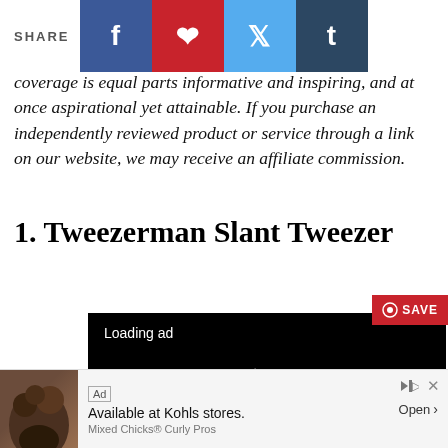SHARE
coverage is equal parts informative and inspiring, and at once aspirational yet attainable. If you purchase an independently reviewed product or service through a link on our website, we may receive an affiliate commission.
1. Tweezerman Slant Tweezer
[Figure (screenshot): Video player loading ad with pause, expand, and mute controls on black background]
[Figure (photo): Pink Tweezerman tweezer with Tweezerman branding text]
[Figure (screenshot): Advertisement banner: Available at Kohls stores. Mixed Chicks Curly Pros. Open button. Ad label with close button.]